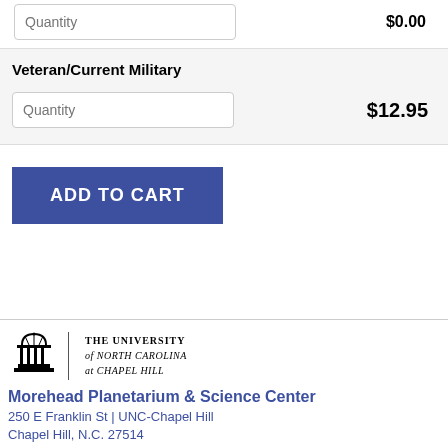$0.00
Veteran/Current Military
$12.95
ADD TO CART
[Figure (logo): The University of North Carolina at Chapel Hill logo with dome icon]
Morehead Planetarium & Science Center
250 E Franklin St | UNC-Chapel Hill
Chapel Hill, N.C. 27514